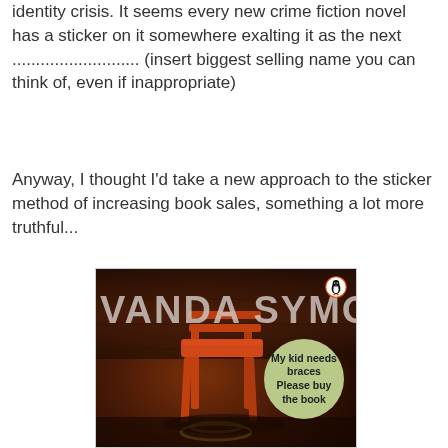identity crisis. It seems every new crime fiction novel has a sticker on it somewhere exalting it as the next ........................... (insert biggest selling name you can think of, even if inappropriate)
Anyway, I thought I'd take a new approach to the sticker method of increasing book sales, something a lot more truthful...
[Figure (photo): Book cover of Vanda Symon's novel with a Penguin Books logo in the top right corner. The cover shows a dark atmospheric background with a chair. A round green sticker reads 'My kid needs braces Please buy the book'.]